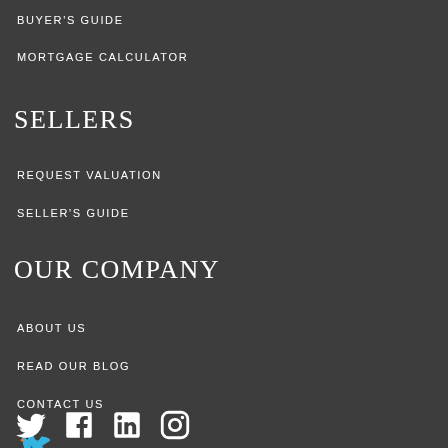BUYER'S GUIDE
MORTGAGE CALCULATOR
SELLERS
REQUEST VALUATION
SELLER'S GUIDE
OUR COMPANY
ABOUT US
READ OUR BLOG
CONTACT US
[Figure (infographic): Social media icons: Twitter, Facebook, LinkedIn, Instagram]